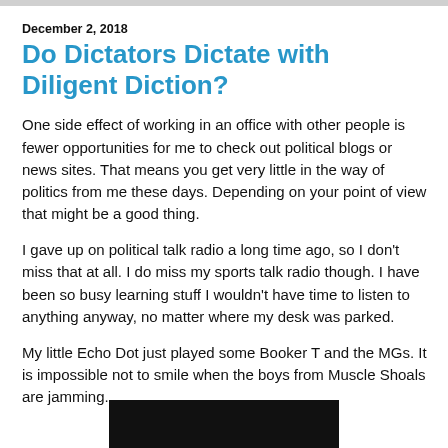December 2, 2018
Do Dictators Dictate with Diligent Diction?
One side effect of working in an office with other people is fewer opportunities for me to check out political blogs or news sites. That means you get very little in the way of politics from me these days. Depending on your point of view that might be a good thing.
I gave up on political talk radio a long time ago, so I don't miss that at all. I do miss my sports talk radio though. I have been so busy learning stuff I wouldn't have time to listen to anything anyway, no matter where my desk was parked.
My little Echo Dot just played some Booker T and the MGs. It is impossible not to smile when the boys from Muscle Shoals are jamming.
[Figure (photo): Black image bar at the bottom of the page]